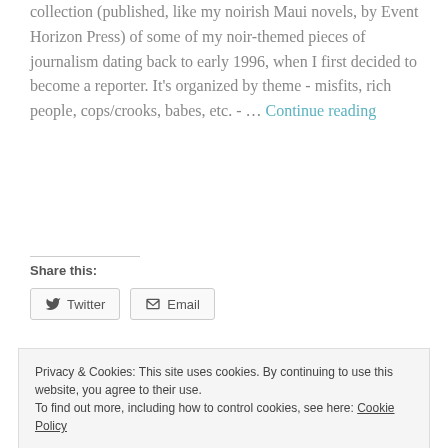collection (published, like my noirish Maui novels, by Event Horizon Press) of some of my noir-themed pieces of journalism dating back to early 1996, when I first decided to become a reporter. It's organized by theme - misfits, rich people, cops/crooks, babes, etc. - … Continue reading
Share this:
Twitter  Email
Privacy & Cookies: This site uses cookies. By continuing to use this website, you agree to their use. To find out more, including how to control cookies, see here: Cookie Policy
Close and accept